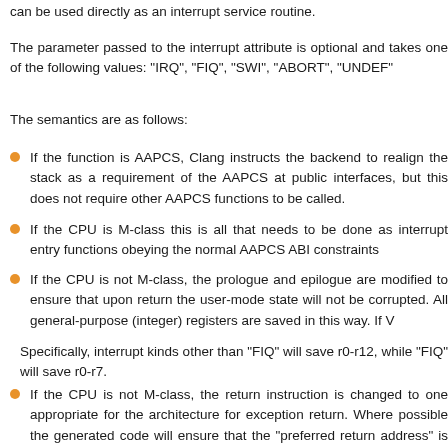can be used directly as an interrupt service routine.
The parameter passed to the interrupt attribute is optional and takes one of the following values: "IRQ", "FIQ", "SWI", "ABORT", "UNDEF"
The semantics are as follows:
If the function is AAPCS, Clang instructs the backend to realign the stack as a requirement of the AAPCS at public interfaces, but this does not require other AAPCS functions to be called.
If the CPU is M-class this is all that needs to be done as interrupt entry functions obeying the normal AAPCS ABI constraints
If the CPU is not M-class, the prologue and epilogue are modified to ensure that upon return the user-mode state will not be corrupted. All general-purpose (integer) registers are saved in this way. If V
Specifically, interrupt kinds other than "FIQ" will save r0-r12, while "FIQ" will save r0-r7.
If the CPU is not M-class, the return instruction is changed to one appropriate for the architecture for exception return. Where possible the generated code will ensure that the "preferred return address" is selected.